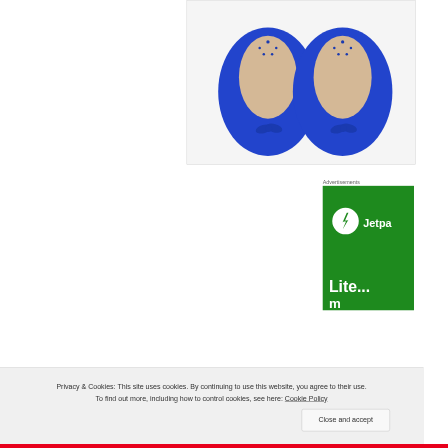[Figure (photo): Product photo showing two blue suede ballet flat shoes with small bow decoration and perforated insole, viewed from above on white background]
Advertisements
[Figure (screenshot): Advertisement banner with green background showing Jetpack logo (lightning bolt in circle) and partial text 'Jetpa' and 'Lite...' in white text]
Privacy & Cookies: This site uses cookies. By continuing to use this website, you agree to their use.
To find out more, including how to control cookies, see here: Cookie Policy
Close and accept